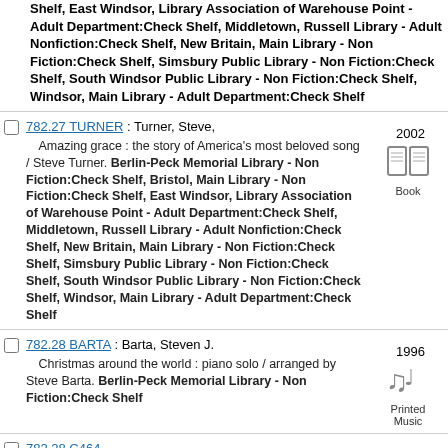Shelf, East Windsor, Library Association of Warehouse Point - Adult Department:Check Shelf, Middletown, Russell Library - Adult Nonfiction:Check Shelf, New Britain, Main Library - Non Fiction:Check Shelf, Simsbury Public Library - Non Fiction:Check Shelf, South Windsor Public Library - Non Fiction:Check Shelf, Windsor, Main Library - Adult Department:Check Shelf
782.27 TURNER : Turner, Steve, Amazing grace : the story of America's most beloved song / Steve Turner. Berlin-Peck Memorial Library - Non Fiction:Check Shelf, Bristol, Main Library - Non Fiction:Check Shelf, East Windsor, Library Association of Warehouse Point - Adult Department:Check Shelf, Middletown, Russell Library - Adult Nonfiction:Check Shelf, New Britain, Main Library - Non Fiction:Check Shelf, Simsbury Public Library - Non Fiction:Check Shelf, South Windsor Public Library - Non Fiction:Check Shelf, Windsor, Main Library - Adult Department:Check Shelf. 2002. Book.
782.28 BARTA : Barta, Steven J. Christmas around the world : piano solo / arranged by Steve Barta. Berlin-Peck Memorial Library - Non Fiction:Check Shelf. 1996. Printed Music.
782.28 C464